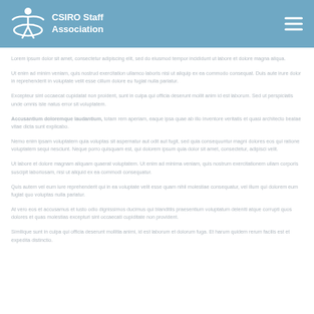CSIRO Staff Association
Lorem ipsum dolor sit amet, consectetur adipiscing elit, sed do eiusmod tempor incididunt ut labore et dolore magna aliqua.
Ut enim ad minim veniam, quis nostrud exercitation ullamco laboris nisi ut aliquip ex ea commodo consequat. Duis aute irure dolor in reprehenderit in voluptate velit esse cillum dolore eu fugiat nulla pariatur.
Excepteur sint occaecat cupidatat non proident, sunt in culpa qui officia deserunt mollit anim id est laborum.
Sed ut perspiciatis unde omnis iste natus error sit voluptatem accusantium doloremque laudantium, totam rem aperiam, eaque ipsa quae ab illo inventore veritatis.
Nemo enim ipsam voluptatem quia voluptas sit aspernatur aut odit aut fugit, sed quia consequuntur magni dolores eos qui ratione voluptatem sequi nesciunt.
Neque porro quisquam est, qui dolorem ipsum quia dolor sit amet, consectetur, adipisci velit.
Ut labore et dolore magnam aliquam quaerat voluptatem. Ut enim ad minima veniam, quis nostrum exercitationem ullam corporis suscipit laboriosam.
Quis autem vel eum iure reprehenderit qui in ea voluptate velit esse quam nihil molestiae consequatur, vel illum qui dolorem eum fugiat.